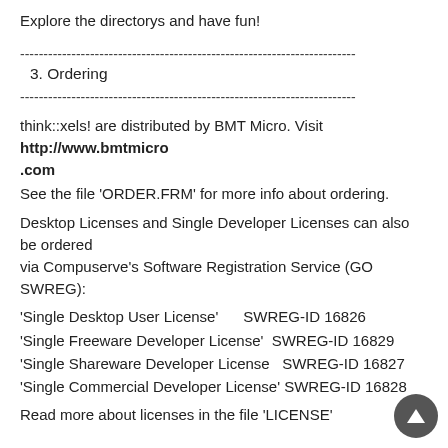Explore the directorys and have fun!
------------------------------------------------------------------------
3. Ordering
------------------------------------------------------------------------
think::xels! are distributed by BMT Micro. Visit http://www.bmtmicro.com
See the file 'ORDER.FRM' for more info about ordering.
Desktop Licenses and Single Developer Licenses can also be ordered via Compuserve's Software Registration Service (GO SWREG):
'Single Desktop User License'       SWREG-ID 16826
'Single Freeware Developer License'  SWREG-ID 16829
'Single Shareware Developer License   SWREG-ID 16827
'Single Commercial Developer License' SWREG-ID 16828
Read more about licenses in the file 'LICENSE'